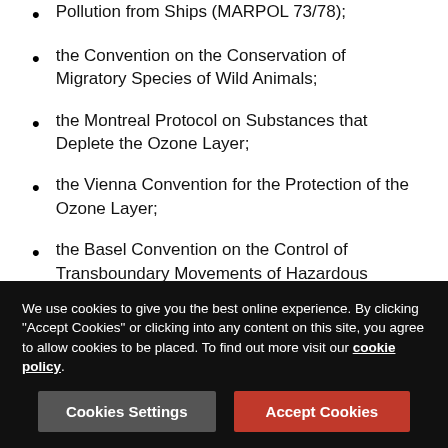Pollution from Ships (MARPOL 73/78);
the Convention on the Conservation of Migratory Species of Wild Animals;
the Montreal Protocol on Substances that Deplete the Ozone Layer;
the Vienna Convention for the Protection of the Ozone Layer;
the Basel Convention on the Control of Transboundary Movements of Hazardous Wastes and their Disposal;
the Rio Declaration on Environment and Development;
the United Nations Framework Convention on Climate Change;
the Convention on Biological Diversity;
We use cookies to give you the best online experience. By clicking "Accept Cookies" or clicking into any content on this site, you agree to allow cookies to be placed. To find out more visit our cookie policy.